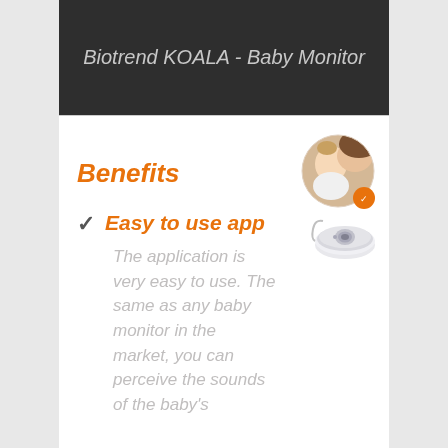Biotrend KOALA - Baby Monitor
Benefits
[Figure (photo): Circular photo of a baby being kissed by an adult, with an orange badge overlay in bottom right]
Easy to use app
[Figure (photo): Small device sensor/puck on a white surface, appears to be the Koala baby monitor hardware]
The application is very easy to use. The same as any baby monitor in the market, you can perceive the sounds of the baby's